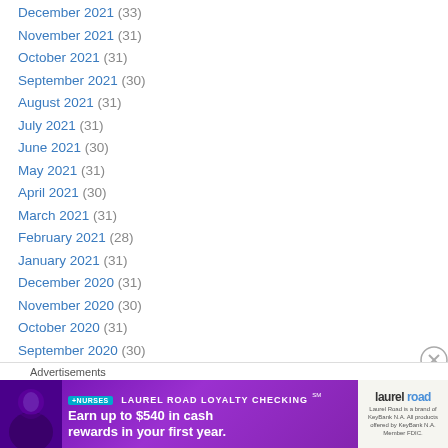December 2021 (33)
November 2021 (31)
October 2021 (31)
September 2021 (30)
August 2021 (31)
July 2021 (31)
June 2021 (30)
May 2021 (31)
April 2021 (30)
March 2021 (31)
February 2021 (28)
January 2021 (31)
December 2020 (31)
November 2020 (30)
October 2020 (31)
September 2020 (30)
August 2020 (31)
Advertisements
[Figure (photo): Laurel Road Loyalty Checking advertisement banner featuring a nurse and text 'Earn up to $540 in cash rewards in your first year.']